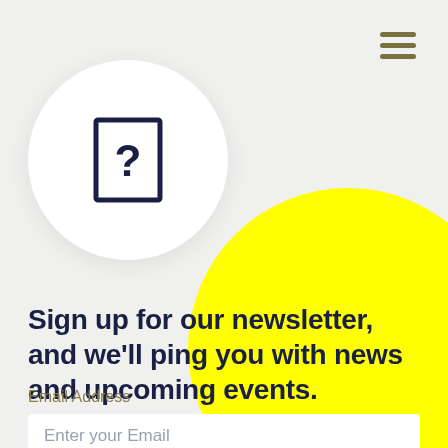[Figure (illustration): Hamburger menu icon with three horizontal lines in olive/khaki color, positioned top right]
[Figure (illustration): White circle with a dark navy question mark inside a rectangular frame/icon, representing an unknown or missing image placeholder]
[Figure (illustration): Large bright yellow circle in the bottom-right corner as a decorative background element]
Sign up for our newsletter, and we'll ping you with news and upcoming events.
Email Address
Enter your Email